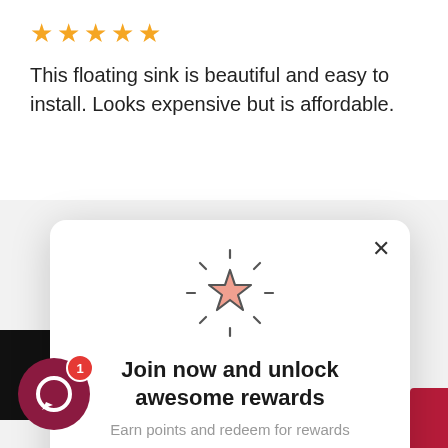★★★★★
This floating sink is beautiful and easy to install. Looks expensive but is affordable.
[Figure (illustration): Sparkling star icon with radiating lines, pink/salmon fill with dark outline]
Join now and unlock awesome rewards
Earn points and redeem for rewards
Join Now
Already a member? Sign in
[Figure (illustration): Chat bubble icon with red badge showing '1' notification count]